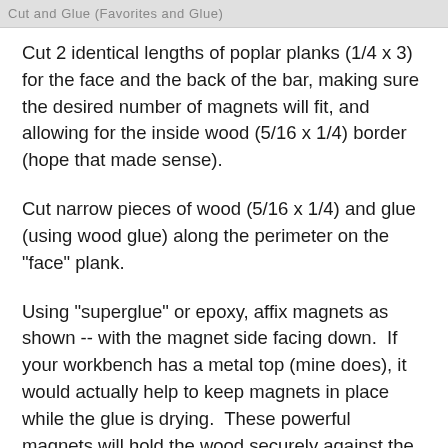Cut and Glue (Favorites and Glue)
Cut 2 identical lengths of poplar planks (1/4 x 3) for the face and the back of the bar, making sure the desired number of magnets will fit, and allowing for the inside wood (5/16 x 1/4) border (hope that made sense).
Cut narrow pieces of wood (5/16 x 1/4) and glue (using wood glue) along the perimeter on the "face" plank.
Using "superglue" or epoxy, affix magnets as shown -- with the magnet side facing down.  If your workbench has a metal top (mine does), it would actually help to keep magnets in place while the glue is drying.  These powerful magnets will hold the wood securely against the metal bench top.